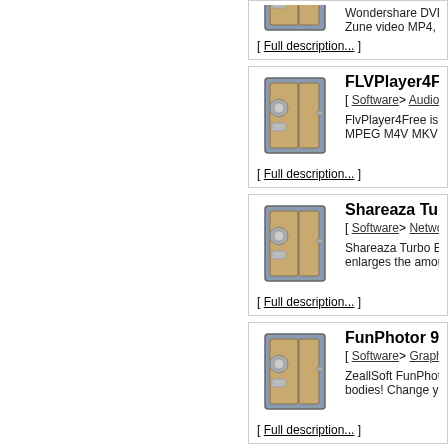Wondershare DVD to Zune video MP4, MPEG-
[ Full description... ]
FLVPlayer4Free
[ Software> Audio & Mult
FlvPlayer4Free is an upd... MPEG M4V MKV DVR-M
[ Full description... ]
Shareaza Turbo B
[ Software> Network & In
Shareaza Turbo Booster... enlarges the amount of d
[ Full description... ]
FunPhotor 9.42
[ Software> Graphic App
ZeallSoft FunPhotor is fu... bodies! Change yourself
[ Full description... ]